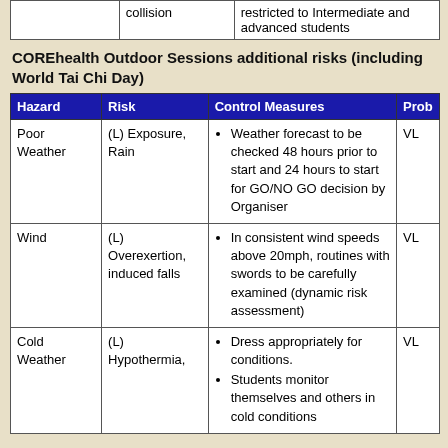|  |  |  |
| --- | --- | --- |
|  | collision | restricted to Intermediate and advanced students |
COREhealth Outdoor Sessions additional risks (including World Tai Chi Day)
| Hazard | Risk | Control Measures | Prob |
| --- | --- | --- | --- |
| Poor Weather | (L) Exposure, Rain | Weather forecast to be checked 48 hours prior to start and 24 hours to start for GO/NO GO decision by Organiser | VL |
| Wind | (L) Overexertion, induced falls | In consistent wind speeds above 20mph, routines with swords to be carefully examined (dynamic risk assessment) | VL |
| Cold Weather | (L) Hypothermia, | Dress appropriately for conditions. Students monitor themselves and others in cold conditions | VL |